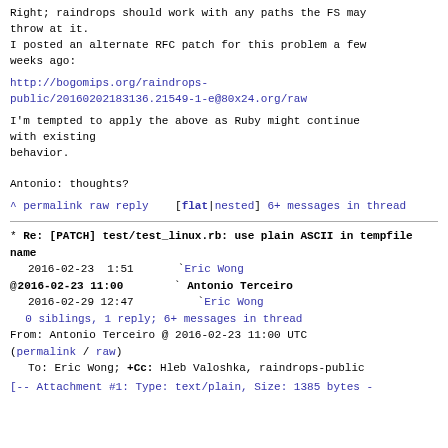Right; raindrops should work with any paths the FS may throw at it.
I posted an alternate RFC patch for this problem a few weeks ago:
http://bogomips.org/raindrops-public/20160202183136.21549-1-e@80x24.org/raw
I'm tempted to apply the above as Ruby might continue with existing
behavior.

Antonio: thoughts?
^ permalink raw reply    [flat|nested] 6+ messages in thread
* Re: [PATCH] test/test_linux.rb: use plain ASCII in tempfile name
  2016-02-23  1:51    ` Eric Wong
@ 2016-02-23 11:00      ` Antonio Terceiro
  2016-02-29 12:47       ` Eric Wong
  0 siblings, 1 reply; 6+ messages in thread
From: Antonio Terceiro @ 2016-02-23 11:00 UTC
(permalink / raw)
  To: Eric Wong; +Cc: Hleb Valoshka, raindrops-public

[-- Attachment #1: Type: text/plain, Size: 1385 bytes -